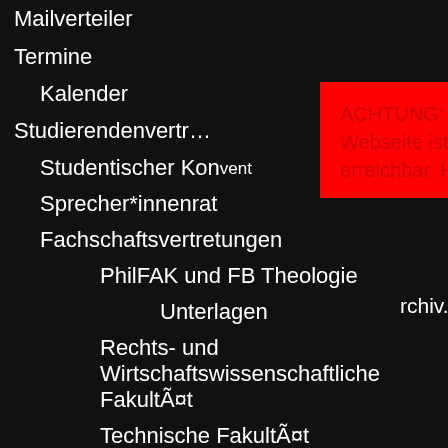Mailverteiler
Termine
Kalender
Studierendenvertr…
Studentischer Konvent
Sprecher*innenrat
Fachschaftsvertretungen
PhilFAK und FB Theologie
Unterlagen
Rechts- und Wirtschaftswissenschaftliche Fakultät
Technische Fakultät
Kalender
Sitzungen und Protokolle
Verein
FSIen
ACHTUNG: Die neue Stuve-Webseite ist unter [link] erreichbar. Hier ist nur noch [archiv.] [X]
guys play a casino well a promi player
Your c variou rewar vary f for pu
Loc
This a stand keep s smart the fo along enable
Sadon devel some